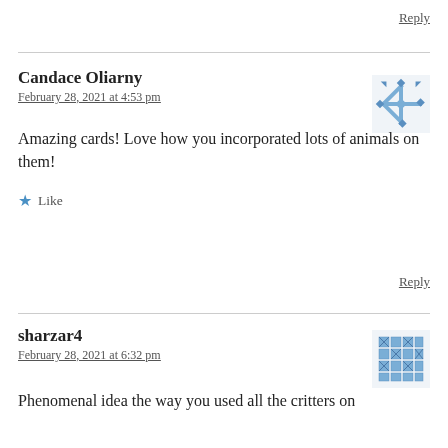Reply
Candace Oliarny
February 28, 2021 at 4:53 pm
Amazing cards! Love how you incorporated lots of animals on them!
Like
Reply
[Figure (illustration): Blue snowflake/geometric avatar icon for Candace Oliarny]
sharzar4
February 28, 2021 at 6:32 pm
[Figure (illustration): Blue geometric/quilt pattern avatar icon for sharzar4]
Phenomenal idea the way you used all the critters on